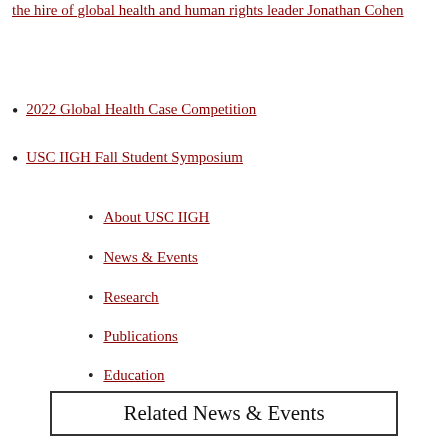the hire of global health and human rights leader Jonathan Cohen
2022 Global Health Case Competition
USC IIGH Fall Student Symposium
About USC IIGH
News & Events
Research
Publications
Education
Featured Programs
Related News & Events